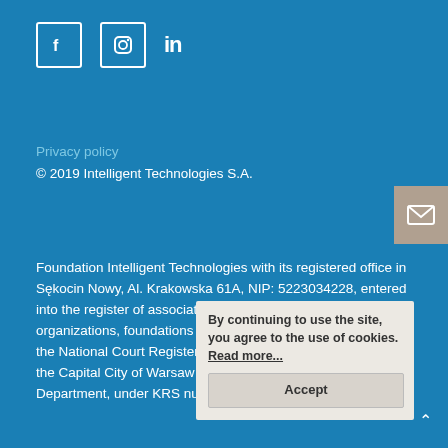[Figure (logo): Social media icons: Facebook (f in a box), Instagram (camera circle in a box), LinkedIn (in in text)]
Privacy policy
© 2019 Intelligent Technologies S.A.
[Figure (illustration): Mail/envelope icon button on right edge, tan/beige background]
Foundation Intelligent Technologies with its registered office in Sękocin Nowy, Al. Krakowska 61A, NIP: 5223034228, entered into the register of associations, other social and professional organizations, foundations and public healthcare institutions of the National Court Register maintained by the District Court for the Capital City of Warsaw in Warsaw, 12th Commercial Department, under KRS number 0000567814.
By continuing to use the site, you agree to the use of cookies. Read more... Accept